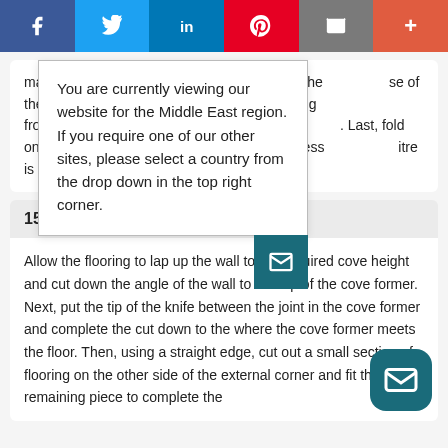[Figure (screenshot): Social media share bar with Facebook, Twitter, LinkedIn, Pinterest, Email, and Plus buttons]
material to a push it down into the se of the cove former. nife, cut the flooring from to the outer edge, where . Last, fold one side into plus. Repeat the process itre is fitted neatly. Find .
You are currently viewing our website for the Middle East region. If you require one of our other sites, please select a country from the drop down in the top right corner.
15. External
Allow the flooring to lap up the wall to the required cove height and cut down the angle of the wall to the top of the cove former. Next, put the tip of the knife between the joint in the cove former and complete the cut down to the where the cove former meets the floor. Then, using a straight edge, cut out a small section of flooring on the other side of the external corner and fit the remaining piece to complete the